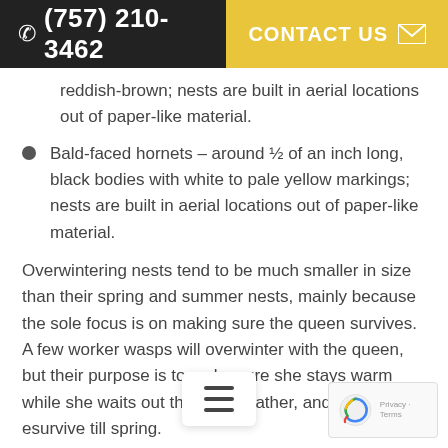(757) 210-3462  CONTACT US
reddish-brown; nests are built in aerial locations out of paper-like material.
Bald-faced hornets – around ½ of an inch long, black bodies with white to pale yellow markings; nests are built in aerial locations out of paper-like material.
Overwintering nests tend to be much smaller in size than their spring and summer nests, mainly because the sole focus is on making sure the queen survives. A few worker wasps will overwinter with the queen, but their purpose is to make sure she stays warm while she waits out the cold weather, and they rarely ever survive till spring.